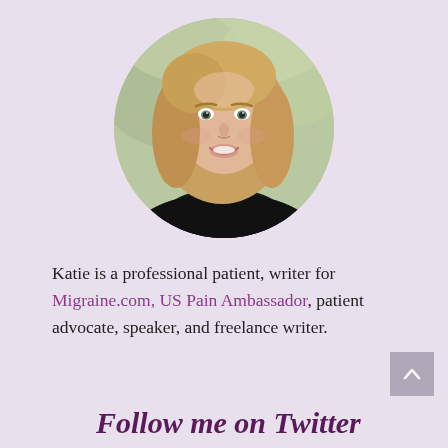[Figure (photo): Circular cropped headshot of a smiling blonde woman wearing a black top, with a soft blurred outdoor background.]
Katie is a professional patient, writer for Migraine.com, US Pain Ambassador, patient advocate, speaker, and freelance writer.
Follow me on Twitter